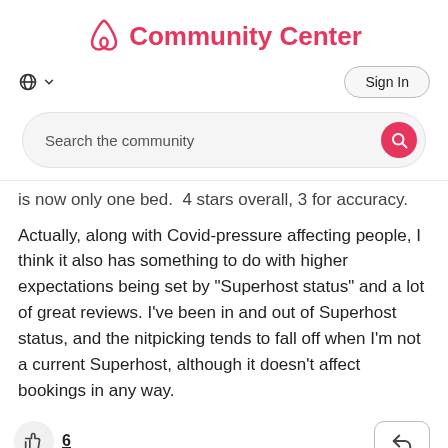Community Center
Search the community
is now only one bed.  4 stars overall, 3 for accuracy.
Actually, along with Covid-pressure affecting people, I think it also has something to do with higher expectations being set by "Superhost status" and a lot of great reviews. I've been in and out of Superhost status, and the nitpicking tends to fall off when I'm not a current Superhost, although it doesn't affect bookings in any way.
6